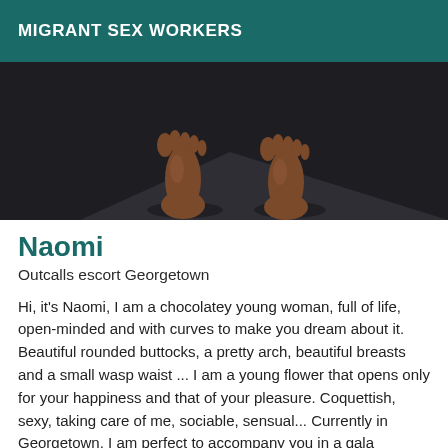MIGRANT SEX WORKERS
[Figure (photo): Close-up photo of two bare feet standing on a dark grey/charcoal mat or floor surface, viewed from above. The feet appear to belong to a person with darker skin tone.]
Naomi
Outcalls escort Georgetown
Hi, it's Naomi, I am a chocolatey young woman, full of life, open-minded and with curves to make you dream about it. Beautiful rounded buttocks, a pretty arch, beautiful breasts and a small wasp waist ... I am a young flower that opens only for your happiness and that of your pleasure. Coquettish, sexy, taking care of me, sociable, sensual... Currently in Georgetown, I am perfect to accompany you in a gala evening, a romantic